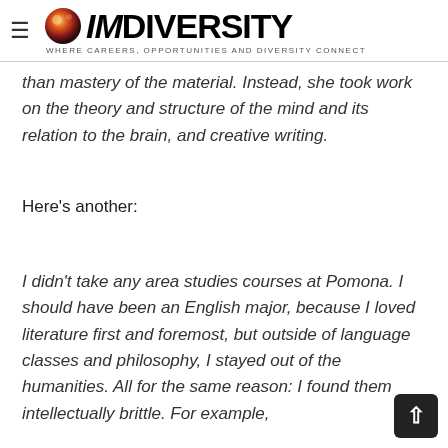IMDiversity — WHERE CAREERS, OPPORTUNITIES AND DIVERSITY CONNECT
than mastery of the material. Instead, she took work on the theory and structure of the mind and its relation to the brain, and creative writing.
Here's another:
I didn't take any area studies courses at Pomona. I should have been an English major, because I loved literature first and foremost, but outside of language classes and philosophy, I stayed out of the humanities. All for the same reason: I found them intellectually brittle. For example,